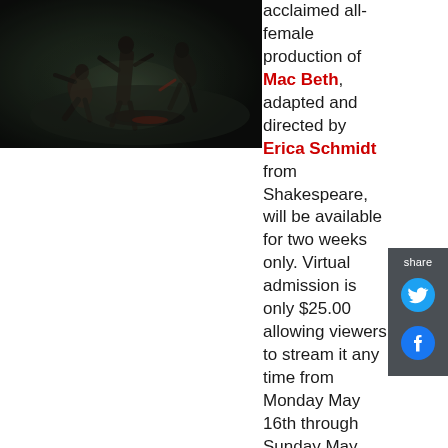[Figure (photo): Dark theatrical scene with figures in motion on a dimly lit stage, appears to be a production still from Mac Beth]
acclaimed all-female production of Mac Beth, adapted and directed by Erica Schmidt from Shakespeare, will be available for two weeks only. Virtual admission is only $25.00 allowing viewers to stream it any time from Monday May 16th through Sunday May 29th.